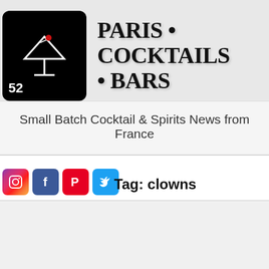[Figure (logo): Black rounded square logo with white martini glass and red olive on top, with '52' in white text at bottom left]
PARIS • COCKTAILS • BARS
Small Batch Cocktail & Spirits News from France
[Figure (infographic): Row of four social media icons: Instagram (gradient), Facebook (blue), Pinterest (red), Twitter (light blue)]
Tag: clowns